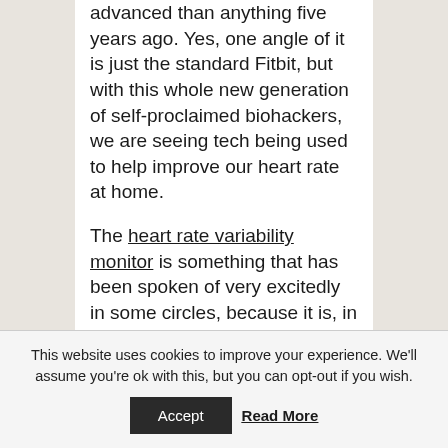advanced than anything five years ago. Yes, one angle of it is just the standard Fitbit, but with this whole new generation of self-proclaimed biohackers, we are seeing tech being used to help improve our heart rate at home.
The heart rate variability monitor is something that has been spoken of very excitedly in some circles, because it is, in a way, a method to hack your heart rate so you can achieve all the benefits of meditation
This website uses cookies to improve your experience. We'll assume you're ok with this, but you can opt-out if you wish.